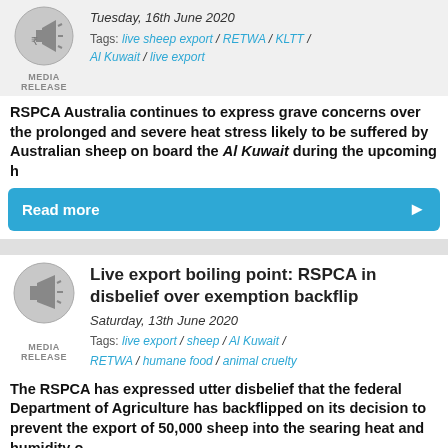[Figure (illustration): Media Release megaphone icon, circular grey badge]
Tuesday, 16th June 2020
Tags: live sheep export / RETWA / KLTT / Al Kuwait / live export
RSPCA Australia continues to express grave concerns over the prolonged and severe heat stress likely to be suffered by Australian sheep on board the Al Kuwait during the upcoming h
Read more
[Figure (illustration): Media Release megaphone icon, circular grey badge]
Live export boiling point: RSPCA in disbelief over exemption backflip
Saturday, 13th June 2020
Tags: live export / sheep / Al Kuwait / RETWA / humane food / animal cruelty
The RSPCA has expressed utter disbelief that the federal Department of Agriculture has backflipped on its decision to prevent the export of 50,000 sheep into the searing heat and humidity o
Read more